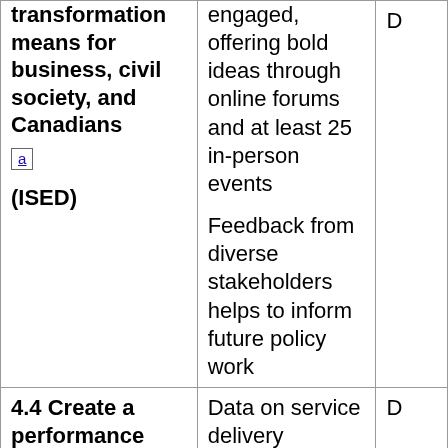| …right. What digital transformation means for business, civil society, and Canadians [a] (ISED) | …engaged, offering bold ideas through online forums and at least 25 in-person events

Feedback from diverse stakeholders helps to inform future policy work | D…2… |
| 4.4 Create a performance dashboard to track service to Canadians | Data on service delivery performance for all major service… | D… |